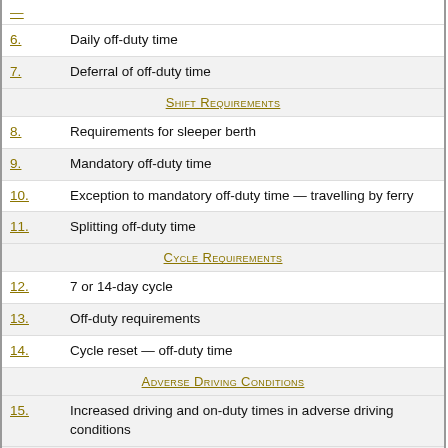6. Daily off-duty time
7. Deferral of off-duty time
Shift Requirements
8. Requirements for sleeper berth
9. Mandatory off-duty time
10. Exception to mandatory off-duty time — travelling by ferry
11. Splitting off-duty time
Cycle Requirements
12. 7 or 14-day cycle
13. Off-duty requirements
14. Cycle reset — off-duty time
Adverse Driving Conditions
15. Increased driving and on-duty times in adverse driving conditions
Record-Keeping
16. Records to be in local time
17. Daily log requirement